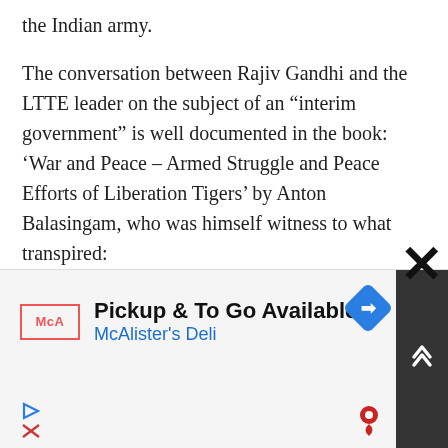the Indian army.
The conversation between Rajiv Gandhi and the LTTE leader on the subject of an “interim government” is well documented in the book: ‘War and Peace – Armed Struggle and Peace Efforts of Liberation Tigers’ by Anton Balasingam, who was himself witness to what transpired:
Promising to speak to President “Jayewardane to persuade him not to hold a referendum” on the proposed merger of the North and East, which was a sticking point in the Accord for
[Figure (other): Advertisement banner for McAlister's Deli: Pickup & To Go Available, with logo, navigation arrow diamond icon, scroll-up button, and close X button]